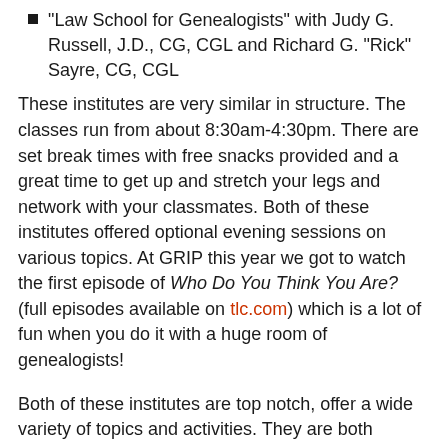“Law School for Genealogists” with Judy G. Russell, J.D., CG, CGL and Richard G. “Rick” Sayre, CG, CGL
These institutes are very similar in structure. The classes run from about 8:30am-4:30pm. There are set break times with free snacks provided and a great time to get up and stretch your legs and network with your classmates. Both of these institutes offered optional evening sessions on various topics. At GRIP this year we got to watch the first episode of Who Do You Think You Are? (full episodes available on tlc.com) which is a lot of fun when you do it with a huge room of genealogists!
Both of these institutes are top notch, offer a wide variety of topics and activities. They are both located in some very scenic locations with a lot of history to explore. Be sure to plan time for site-seeing and fun!